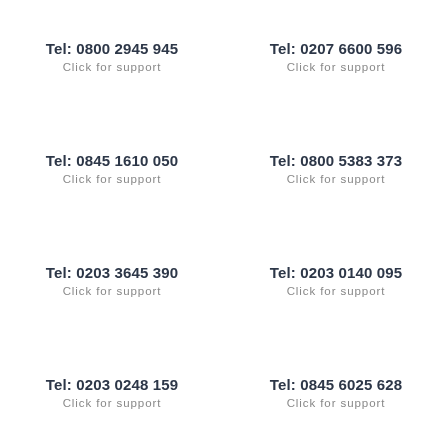Tel: 0800 2945 945
Click for support
Tel: 0207 6600 596
Click for support
Tel: 0845 1610 050
Click for support
Tel: 0800 5383 373
Click for support
Tel: 0203 3645 390
Click for support
Tel: 0203 0140 095
Click for support
Tel: 0203 0248 159
Click for support
Tel: 0845 6025 628
Click for support